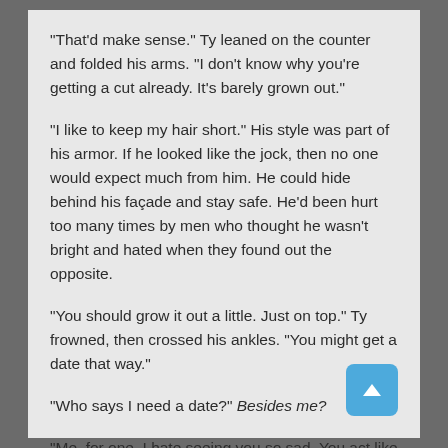“That’d make sense.” Ty leaned on the counter and folded his arms. “I don’t know why you’re getting a cut already. It’s barely grown out.”
“I like to keep my hair short.” His style was part of his armor. If he looked like the jock, then no one would expect much from him. He could hide behind his façade and stay safe. He’d been hurt too many times by men who thought he wasn’t bright and hated when they found out the opposite.
“You should grow it out a little. Just on top.” Ty frowned, then crossed his ankles. “You might get a date that way.”
“Who says I need a date?” Besides me?
“Me, for one. I hate seeing you so sad. You act like y… in a good mood, but I see the way you glare at the